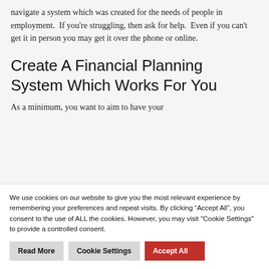navigate a system which was created for the needs of people in employment.  If you're struggling, then ask for help.  Even if you can't get it in person you may get it over the phone or online.
Create A Financial Planning System Which Works For You
As a minimum, you want to aim to have your
We use cookies on our website to give you the most relevant experience by remembering your preferences and repeat visits. By clicking "Accept All", you consent to the use of ALL the cookies. However, you may visit "Cookie Settings" to provide a controlled consent.